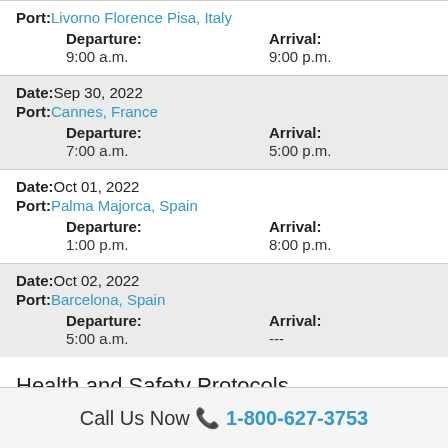| Port: Livorno Florence Pisa, Italy |  |  |
| Departure: | Arrival: |  |
| 9:00 a.m. | 9:00 p.m. |  |
| Date: Sep 30, 2022 |  |  |
| Port: Cannes, France |  |  |
| Departure: | Arrival: |  |
| 7:00 a.m. | 5:00 p.m. |  |
| Date: Oct 01, 2022 |  |  |
| Port: Palma Majorca, Spain |  |  |
| Departure: | Arrival: |  |
| 1:00 p.m. | 8:00 p.m. |  |
| Date: Oct 02, 2022 |  |  |
| Port: Barcelona, Spain |  |  |
| Departure: | Arrival: |  |
| 5:00 a.m. | --- |  |
Health and Safety Protocols
Call Us Now 📞 1-800-627-3753